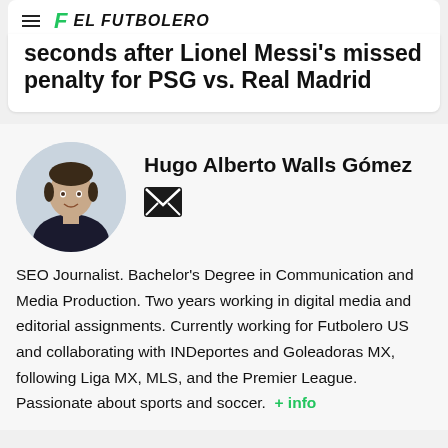EL FUTBOLERO
seconds after Lionel Messi's missed penalty for PSG vs. Real Madrid
[Figure (photo): Circular headshot photo of Hugo Alberto Walls Gómez, a young man in a dark shirt, against a light background]
Hugo Alberto Walls Gómez
[Figure (other): Email/envelope icon]
SEO Journalist. Bachelor's Degree in Communication and Media Production. Two years working in digital media and editorial assignments. Currently working for Futbolero US and collaborating with INDeportes and Goleadoras MX, following Liga MX, MLS, and the Premier League. Passionate about sports and soccer.
+ info